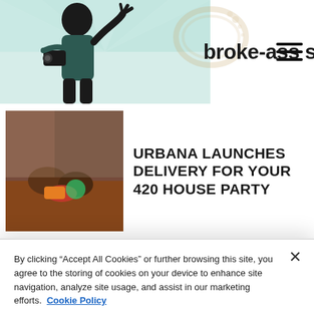broke-ass stuart
URBANA LAUNCHES DELIVERY FOR YOUR 420 HOUSE PARTY
By clicking “Accept All Cookies” or further browsing this site, you agree to the storing of cookies on your device to enhance site navigation, analyze site usage, and assist in our marketing efforts. Cookie Policy
Cookies Settings
Reject All
Accept All Cookies